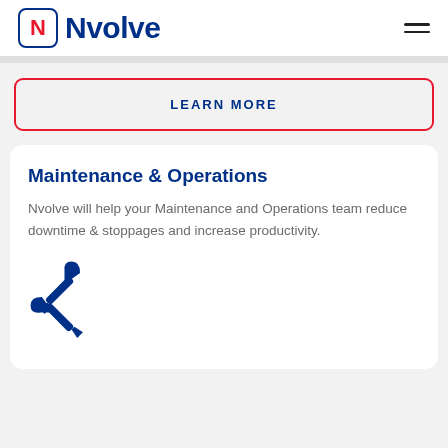Nvolve
LEARN MORE
Maintenance & Operations
Nvolve will help your Maintenance and Operations team reduce downtime & stoppages and increase productivity.
[Figure (illustration): Blue crossed screwdriver and wrench tools icon]